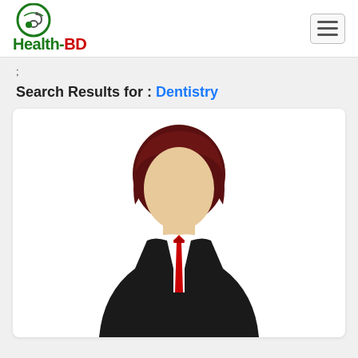[Figure (logo): Health-BD logo with stethoscope icon inside a green circle, and bold green and red text reading Health-BD]
;
Search Results for : Dentistry
[Figure (illustration): Cartoon illustration of a male doctor or professional in a black suit with a red tie, dark red hair, and a face-less avatar style appearance]